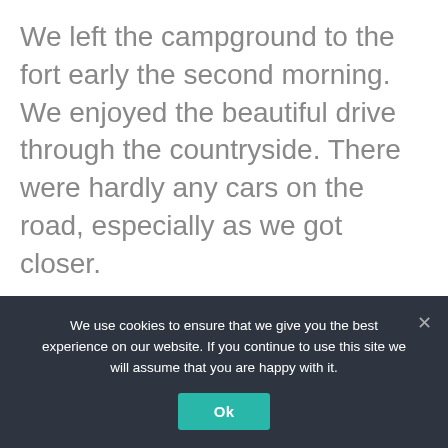We left the campground to the fort early the second morning. We enjoyed the beautiful drive through the countryside. There were hardly any cars on the road, especially as we got closer.
We made it to the parking area, which is where the covered picnic area is. Our goal was to go to the 10:00 a.m. guided tour. We were unsure of where the guided tour started but quickly figured out that the guided tour
We use cookies to ensure that we give you the best experience on our website. If you continue to use this site we will assume that you are happy with it.